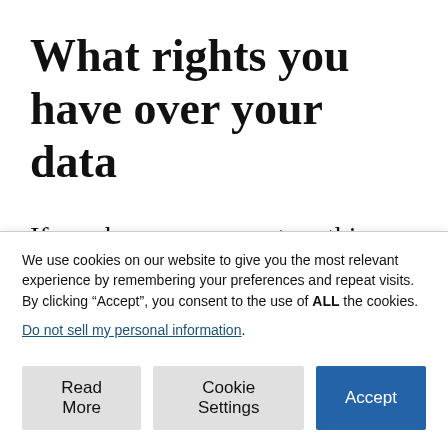What rights you have over your data
If you have an account on this site, or have left comments, you can request to receive an exported file of the personal data we hold about you, including any data you have
We use cookies on our website to give you the most relevant experience by remembering your preferences and repeat visits. By clicking “Accept”, you consent to the use of ALL the cookies.
Do not sell my personal information.